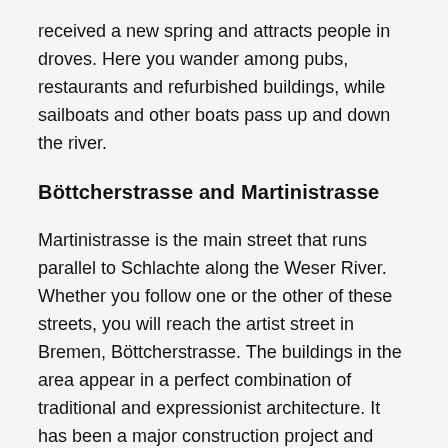received a new spring and attracts people in droves. Here you wander among pubs, restaurants and refurbished buildings, while sailboats and other boats pass up and down the river.
Böttcherstrasse and Martinistrasse
Martinistrasse is the main street that runs parallel to Schlachte along the Weser River. Whether you follow one or the other of these streets, you will reach the artist street in Bremen, Böttcherstrasse. The buildings in the area appear in a perfect combination of traditional and expressionist architecture. It has been a major construction project and was only completed in 1934. Every day at 1200, 1500 and 1800 you can hear chimes in the streets. As part of the chimes you will see famous seafarers wandering around to the sound